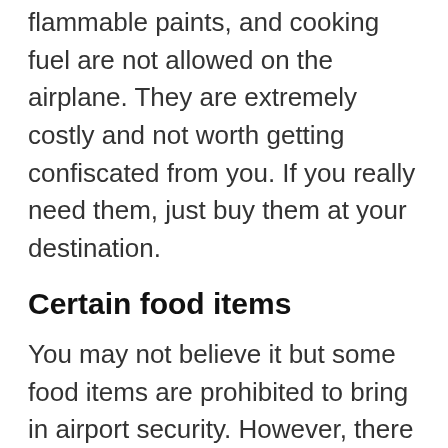flammable paints, and cooking fuel are not allowed on the airplane. They are extremely costly and not worth getting confiscated from you. If you really need them, just buy them at your destination.
Certain food items
You may not believe it but some food items are prohibited to bring in airport security. However, there are some that can be carried along with a subject to additional checks.
Medicines